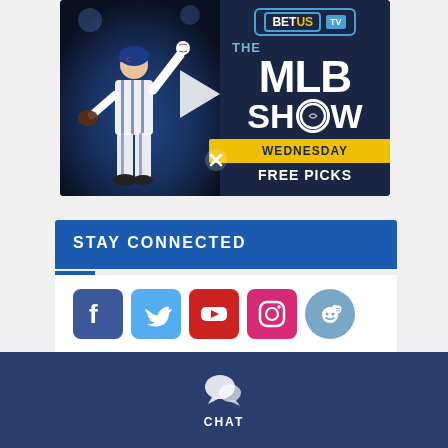[Figure (screenshot): BetUS TV - The MLB Show advertisement banner with baseball pitcher and Wednesday Free Picks text. Includes a play button overlay and close (X) button.]
STAY CONNECTED
[Figure (infographic): Social media icons row: Facebook (blue square), Twitter (light blue square), YouTube (red square), Instagram (pink square), Reddit (blue circle)]
CHAT